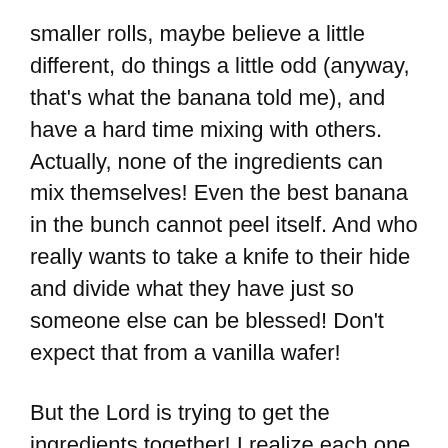smaller rolls, maybe believe a little different, do things a little odd (anyway, that's what the banana told me), and have a hard time mixing with others. Actually, none of the ingredients can mix themselves! Even the best banana in the bunch cannot peel itself. And who really wants to take a knife to their hide and divide what they have just so someone else can be blessed! Don't expect that from a vanilla wafer!
But the Lord is trying to get the ingredients together! I realize each one likes to hang out with their own bunch, or be in groups where the spoon is not so cold or harsh when it